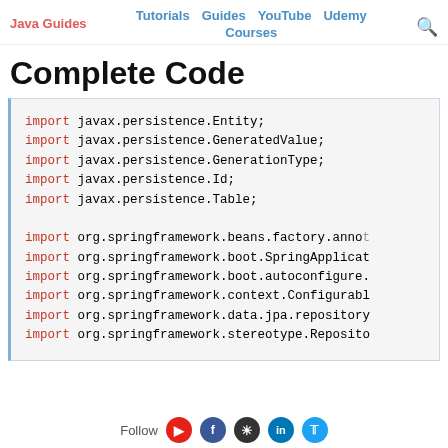Java Guides | Tutorials | Guides | YouTube | Udemy | Courses
Complete Code
import javax.persistence.Entity;
import javax.persistence.GeneratedValue;
import javax.persistence.GenerationType;
import javax.persistence.Id;
import javax.persistence.Table;

import org.springframework.beans.factory.anno...
import org.springframework.boot.SpringApplicat...
import org.springframework.boot.autoconfigure....
import org.springframework.context.Configurabl...
import org.springframework.data.jpa.repository...
import org.springframework.stereotype.Reposito...